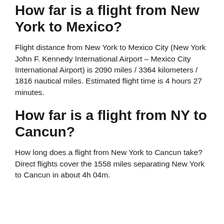How far is a flight from New York to Mexico?
Flight distance from New York to Mexico City (New York John F. Kennedy International Airport – Mexico City International Airport) is 2090 miles / 3364 kilometers / 1816 nautical miles. Estimated flight time is 4 hours 27 minutes.
How far is a flight from NY to Cancun?
How long does a flight from New York to Cancun take? Direct flights cover the 1558 miles separating New York to Cancun in about 4h 04m.